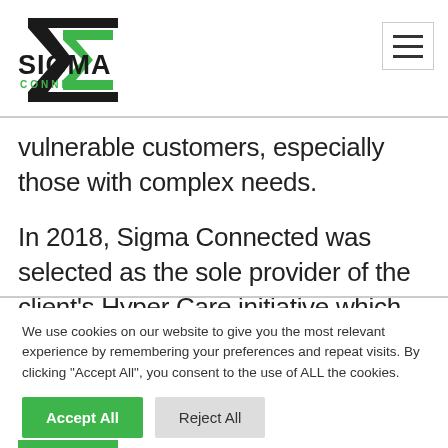[Figure (logo): Sigma Connected logo — black stylized sigma/arrow shape with green fill, text SIGMA in bold black, CONNECTED in green below]
vulnerable customers, especially those with complex needs.
In 2018, Sigma Connected was selected as the sole provider of the client's Hyper Care initiative which
We use cookies on our website to give you the most relevant experience by remembering your preferences and repeat visits. By clicking “Accept All”, you consent to the use of ALL the cookies.